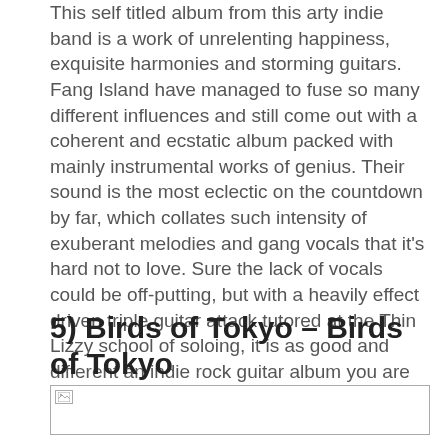This self titled album from this arty indie band is a work of unrelenting happiness, exquisite harmonies and storming guitars. Fang Island have managed to fuse so many different influences and still come out with a coherent and ecstatic album packed with mainly instrumental works of genius. Their sound is the most eclectic on the countdown by far, which collates such intensity of exuberant melodies and gang vocals that it's hard not to love. Sure the lack of vocals could be off-putting, but with a heavily effect driven triple guitar attack tutored at the Thin Lizzy school of soloing, it is as good and different an indie rock guitar album you are ever likely to hear!
5) Birds of Tokyo – Birds of Tokyo
[Figure (photo): Broken image placeholder for Birds of Tokyo album]